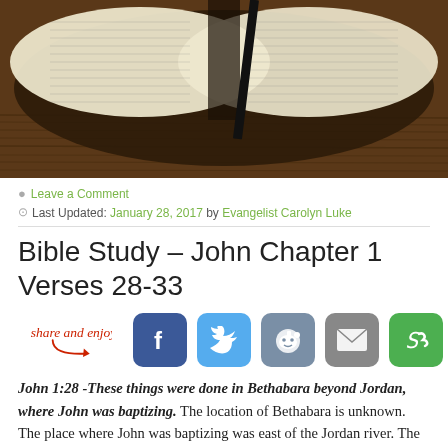[Figure (photo): Open Bible with black bookmark ribbon resting on a dark wooden table, photographed from above]
Leave a Comment
Last Updated: January 28, 2017 by Evangelist Carolyn Luke
Bible Study – John Chapter 1 Verses 28-33
[Figure (infographic): Share and enjoy social sharing widget with arrow and social media icons: Facebook, Twitter, Reddit, Email, and a green share icon]
John 1:28 -These things were done in Bethabara beyond Jordan, where John was baptizing. The location of Bethabara is unknown. The place where John was baptizing was east of the Jordan river. The oldest and most accurate